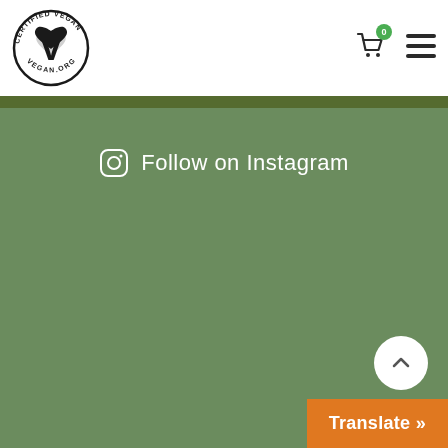[Figure (logo): Certified Vegan logo — circular badge with text 'CERTIFIED VEGAN' around top, a heart-shaped V in the center, and 'VEGAN.ORG' around bottom]
[Figure (illustration): Shopping cart icon with badge showing 0]
[Figure (illustration): Hamburger menu icon (three horizontal lines)]
Follow on Instagram
Translate »